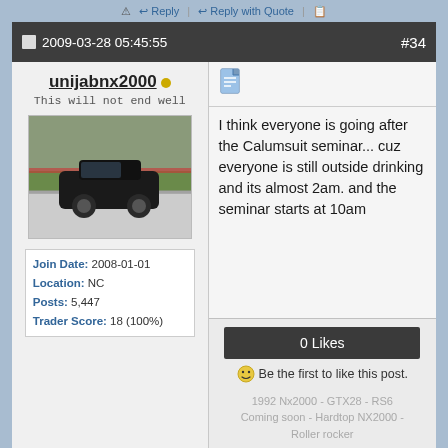Reply | Reply With Quote
2009-03-28 05:45:55  #34
unijabnx2000
This will not end well
[Figure (photo): Black car on a track with green grass background]
Join Date: 2008-01-01
Location: NC
Posts: 5,447
Trader Score: 18 (100%)
I think everyone is going after the Calumsuit seminar... cuz everyone is still outside drinking and its almost 2am. and the seminar starts at 10am
0 Likes
Be the first to like this post.
1992 Nx2000 - GTX28 - RS6 Coming soon - Hardtop NX2000 - Roller rocker